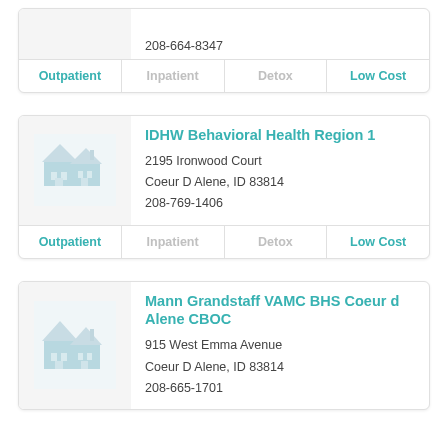208-664-8347
| Outpatient | Inpatient | Detox | Low Cost |
| --- | --- | --- | --- |
IDHW Behavioral Health Region 1
2195 Ironwood Court
Coeur D Alene, ID 83814
208-769-1406
| Outpatient | Inpatient | Detox | Low Cost |
| --- | --- | --- | --- |
Mann Grandstaff VAMC BHS Coeur d Alene CBOC
915 West Emma Avenue
Coeur D Alene, ID 83814
208-665-1701